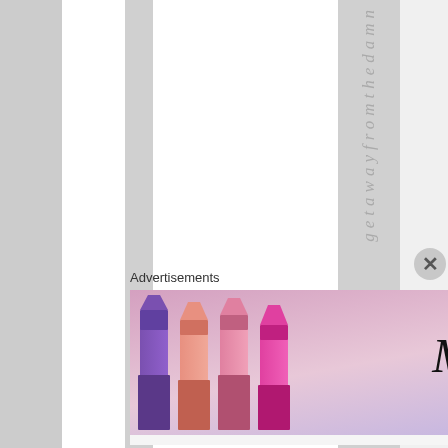[Figure (illustration): Decorative striped background with vertical text reading 'getawayfromthedamn' written vertically in italic gray letters on a gray stripe, with alternating white and gray vertical stripes]
Advertisements
[Figure (photo): MAC cosmetics advertisement banner showing colorful lipsticks (purple, pink, coral, red) on the left, MAC logo in italic text in the center, a 'SHOP NOW' box with bold text, and a red lipstick on the right. Background is pink/lavender gradient.]